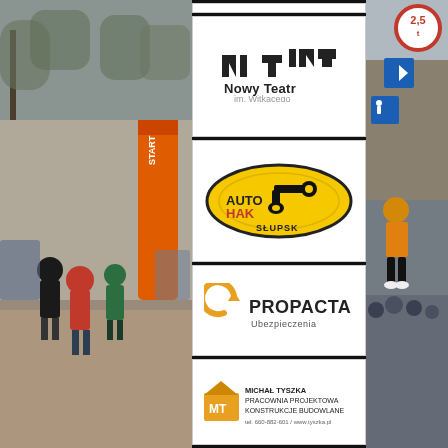[Figure (photo): Runners at a road race start line with an orange inflatable START arch, trees in background, urban setting]
[Figure (logo): Nowy Teatr im. Witkacego logo — geometric black shapes resembling N and T, with text 'Nowy Teatr' and 'im. Witkacego']
[Figure (logo): Auto HAK Słupsk logo — yellow oval with black tow bar hook silhouette, text AUTO HAK and SŁUPSK]
[Figure (logo): PROPACTA Ubezpieczenia logo — orange circular arrow icon with bold text PROPACTA and subtitle Ubezpieczenia]
[Figure (logo): Michał Tyszka Pracownia Projektowa Konstrukcje Budowlane logo — orange building icon with MT initials, company name and contact info tel: 660-882-601 / www.tyszka.pl]
[Figure (photo): Street scene with runners and spectators, road signs visible including 2.5t weight limit, directional arrows, pedestrian crossing signs]